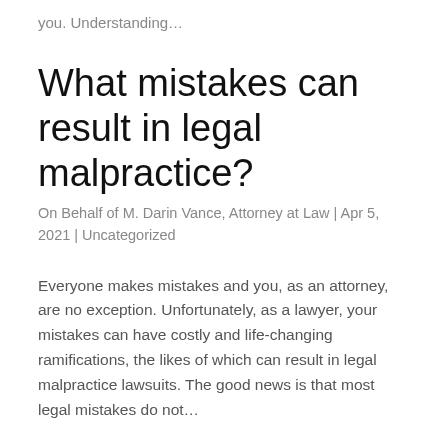you. Understanding…
What mistakes can result in legal malpractice?
On Behalf of M. Darin Vance, Attorney at Law | Apr 5, 2021 | Uncategorized
Everyone makes mistakes and you, as an attorney, are no exception. Unfortunately, as a lawyer, your mistakes can have costly and life-changing ramifications, the likes of which can result in legal malpractice lawsuits. The good news is that most legal mistakes do not…